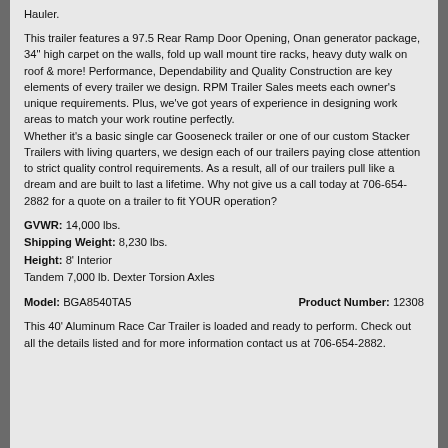Hauler.
This trailer features a 97.5 Rear Ramp Door Opening, Onan generator package, 34" high carpet on the walls, fold up wall mount tire racks, heavy duty walk on roof & more! Performance, Dependability and Quality Construction are key elements of every trailer we design. RPM Trailer Sales meets each owner's unique requirements. Plus, we've got years of experience in designing work areas to match your work routine perfectly. Whether it's a basic single car Gooseneck trailer or one of our custom Stacker Trailers with living quarters, we design each of our trailers paying close attention to strict quality control requirements. As a result, all of our trailers pull like a dream and are built to last a lifetime. Why not give us a call today at 706-654-2882 for a quote on a trailer to fit YOUR operation?
GVWR: 14,000 lbs.
Shipping Weight: 8,230 lbs.
Height: 8' Interior
Tandem 7,000 lb. Dexter Torsion Axles
Model: BGA8540TA5    Product Number: 12308
This 40' Aluminum Race Car Trailer is loaded and ready to perform. Check out all the details listed and for more information contact us at 706-654-2882.